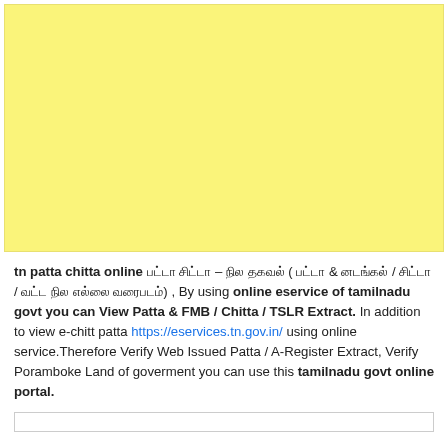[Figure (other): Yellow background block occupying the top portion of the page]
tn patta chitta online பட்டா சிட்டா – நில தகவல் ( பட்டா & அடங்கல் / சிட்டா / வட்ட நில எல்லை வரைபடம்) , By using online eservice of tamilnadu govt you can View Patta & FMB / Chitta / TSLR Extract. In addition to view e-chitt patta https://eservices.tn.gov.in/ using online service.Therefore Verify Web Issued Patta / A-Register Extract, Verify Poramboke Land of goverment you can use this tamilnadu govt online portal.